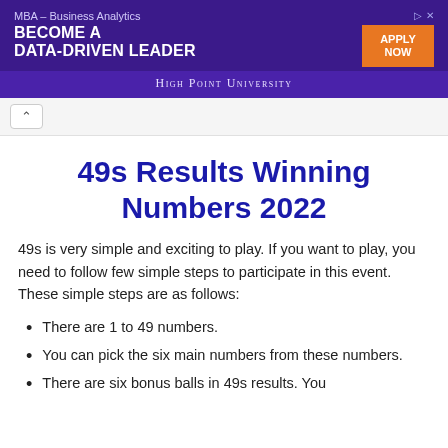[Figure (screenshot): Advertisement banner for High Point University MBA – Business Analytics program with purple background, orange 'Apply Now' button, and university name in small caps.]
49s Results Winning Numbers 2022
49s is very simple and exciting to play. If you want to play, you need to follow few simple steps to participate in this event. These simple steps are as follows:
There are 1 to 49 numbers.
You can pick the six main numbers from these numbers.
There are six bonus balls in 49s results. You